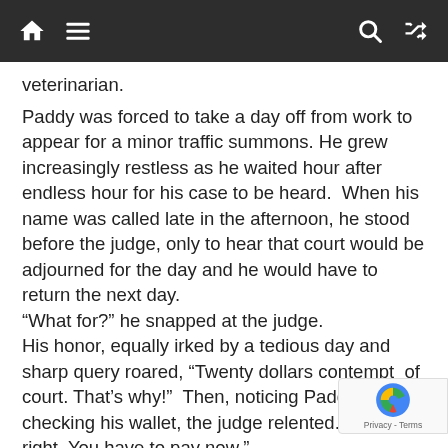home menu search shuffle
veterinarian.
Paddy was forced to take a day off from work to appear for a minor traffic summons. He grew increasingly restless as he waited hour after endless hour for his case to be heard.  When his name was called late in the afternoon, he stood before the judge, only to hear that court would be adjourned for the day and he would have to return the next day.
“What for?” he snapped at the judge.
His honor, equally irked by a tedious day and sharp query roared, “Twenty dollars contempt  of court. That’s why!”  Then, noticing Paddy checking his wallet, the judge relented. “That’s all right. You have to pay now.”
Paddy replied, “I’m just seeing if I have enough for